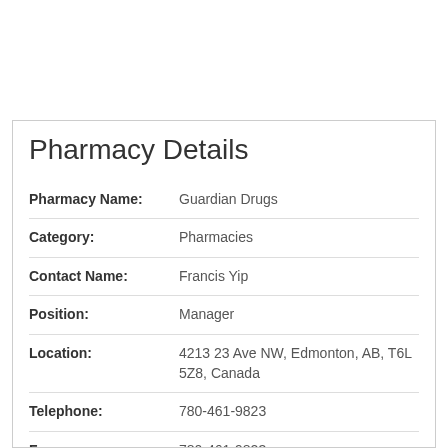Pharmacy Details
| Field | Value |
| --- | --- |
| Pharmacy Name: | Guardian Drugs |
| Category: | Pharmacies |
| Contact Name: | Francis Yip |
| Position: | Manager |
| Location: | 4213 23 Ave NW, Edmonton, AB, T6L 5Z8, Canada |
| Telephone: | 780-461-9823 |
| Fax: | 780-461-9823 |
| Approximate Revenue: | $2.5 to 5 million |
| Number of Employees: | 10 to 19 |